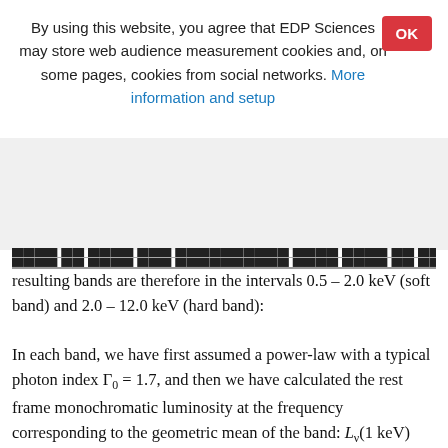By using this website, you agree that EDP Sciences may store web audience measurement cookies and, on some pages, cookies from social networks. More information and setup
resulting bands are therefore in the intervals 0.5 – 2.0 keV (soft band) and 2.0 – 12.0 keV (hard band):
In each band, we have first assumed a power-law with a typical photon index Γ0 = 1.7, and then we have calculated the rest frame monochromatic luminosity at the frequency corresponding to the geometric mean of the band: Lν(1 keV) and Lν(5 keV) for the Soft and Hard bands, respectively.